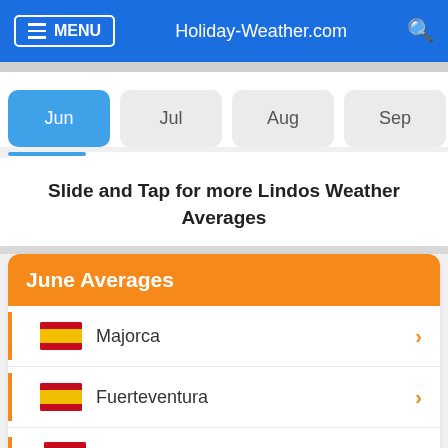MENU | Holiday-Weather.com
Jun
Jul
Aug
Sep
Oct
Nov
Slide and Tap for more Lindos Weather Averages
June Averages
Majorca
Fuerteventura